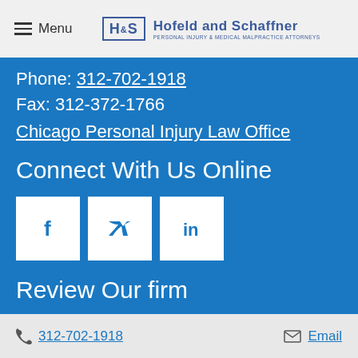Menu | Hofeld and Schaffner - Personal Injury & Medical Malpractice Attorneys
Phone: 312-702-1918
Fax: 312-372-1766
Chicago Personal Injury Law Office
Connect With Us Online
[Figure (illustration): Social media icons: Facebook, Twitter, LinkedIn]
Review Our firm
REVIEW US
312-702-1918 | Email